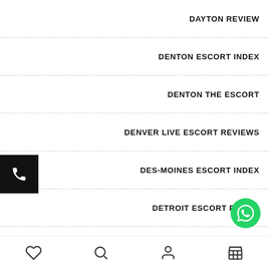DAYTON REVIEW
DENTON ESCORT INDEX
DENTON THE ESCORT
DENVER LIVE ESCORT REVIEWS
DES-MOINES ESCORT INDEX
DETROIT ESCORT RADAR
DETROIT ESCORT SITES
DIL MIL SIGN IN
♡  🔍  👤  🏪